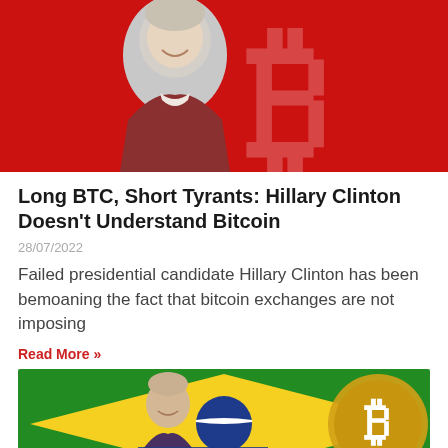[Figure (photo): Photo of Hillary Clinton smiling, overlaid on a red background with a large Bitcoin logo (B symbol)]
Long BTC, Short Tyrants: Hillary Clinton Doesn't Understand Bitcoin
28/07/2022
Failed presidential candidate Hillary Clinton has been bemoaning the fact that bitcoin exchanges are not imposing
Read More »
[Figure (photo): Photo of a man smiling in front of a Brazilian flag, with a Bitcoin coin graphic on the right side. Text visible: 'OEM E PROG']